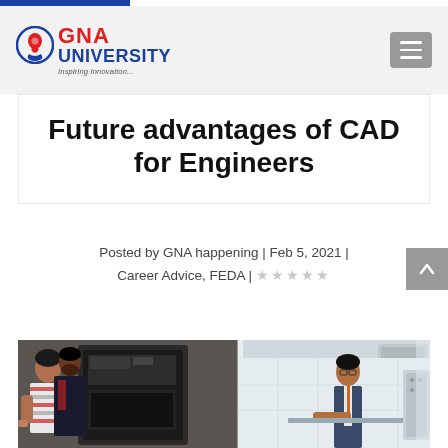GNA University — Inspiring Innovation...
Future advantages of CAD for Engineers
Posted by GNA happening | Feb 5, 2021 | Career Advice, FEDA |
[Figure (photo): Two students working at an engineering/CAD lab workstation with equipment; and a person in a suit at another lab station]